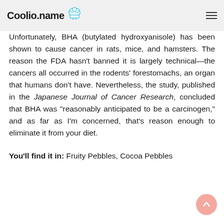Coolio.name
Unfortunately, BHA (butylated hydroxyanisole) has been shown to cause cancer in rats, mice, and hamsters. The reason the FDA hasn't banned it is largely technical—the cancers all occurred in the rodents' forestomachs, an organ that humans don't have. Nevertheless, the study, published in the Japanese Journal of Cancer Research, concluded that BHA was "reasonably anticipated to be a carcinogen," and as far as I'm concerned, that's reason enough to eliminate it from your diet.
You'll find it in: Fruity Pebbles, Cocoa Pebbles